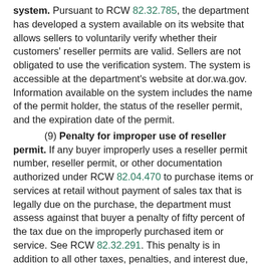system. Pursuant to RCW 82.32.785, the department has developed a system available on its website that allows sellers to voluntarily verify whether their customers' reseller permits are valid. Sellers are not obligated to use the verification system. The system is accessible at the department's website at dor.wa.gov. Information available on the system includes the name of the permit holder, the status of the reseller permit, and the expiration date of the permit.
(9) Penalty for improper use of reseller permit. If any buyer improperly uses a reseller permit number, reseller permit, or other documentation authorized under RCW 82.04.470 to purchase items or services at retail without payment of sales tax that is legally due on the purchase, the department must assess against that buyer a penalty of fifty percent of the tax due on the improperly purchased item or service. See RCW 82.32.291. This penalty is in addition to all other taxes, penalties, and interest due, and applies even if there was no intent to evade the payment of retail sales tax. The penalty will be assessed by the department and applies only to the buyer. However, see subsection (13)